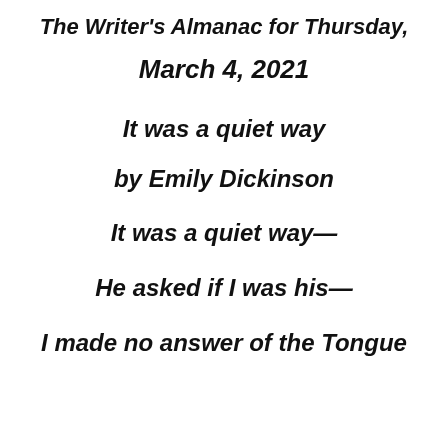The Writer's Almanac for Thursday,
March 4, 2021
It was a quiet way
by Emily Dickinson
It was a quiet way—
He asked if I was his—
I made no answer of the Tongue